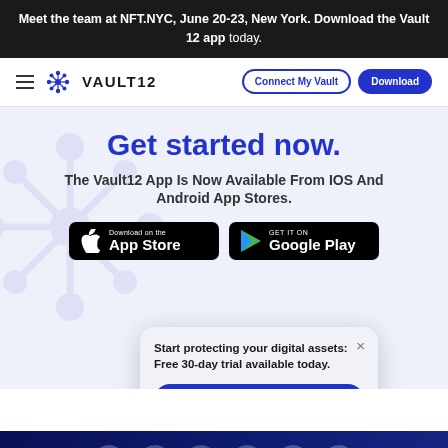Meet the team at NFT.NYC, June 20-23, New York. Download the Vault 12 app today.
[Figure (logo): Vault12 navigation bar with hamburger menu, snowflake logo, 'VAULT12' text, 'Connect My Vault' outline button, and 'Download' filled blue button]
Get started now.
The Vault12 App Is Now Available From IOS And Android App Stores.
[Figure (other): App Store download button (black, white Apple logo, 'Download on the App Store' text)]
[Figure (other): Google Play download button (black, colorful play logo, 'GET IT ON Google Play' text)]
Start protecting your digital assets: Free 30-day trial available today.
Download Now
[Figure (other): Dark blue section with social media icons at the bottom: Facebook, Twitter, Instagram, LinkedIn, email, and another icon]